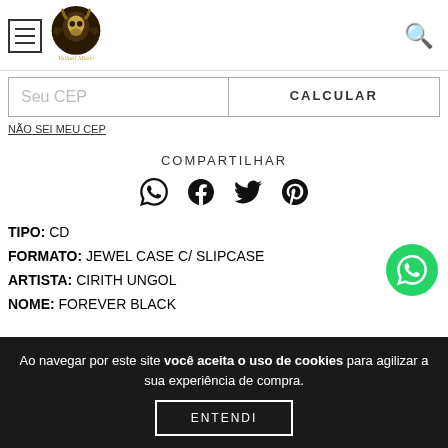Valhall Music - menu and search header
Seu CEP
CALCULAR
NÃO SEI MEU CEP
COMPARTILHAR
[Figure (other): Social share icons: WhatsApp, Facebook, Twitter, Pinterest]
TIPO: CD
FORMATO: JEWEL CASE C/ SLIPCASE
ARTISTA: CIRITH UNGOL
NOME: FOREVER BLACK
Ao navegar por este site você aceita o uso de cookies para agilizar a sua experiência de compra.
ENTENDI